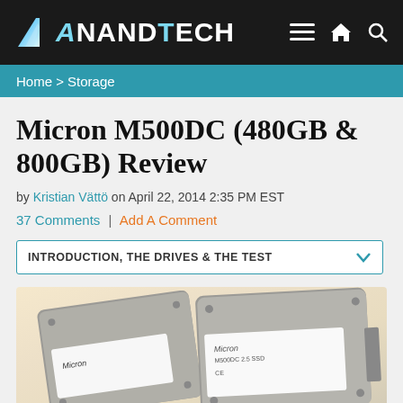AnandTech
Home > Storage
Micron M500DC (480GB & 800GB) Review
by Kristian Vättö on April 22, 2014 2:35 PM EST
37 Comments | Add A Comment
INTRODUCTION, THE DRIVES & THE TEST
[Figure (photo): Two Micron M500DC SSD drives photographed on a light background]